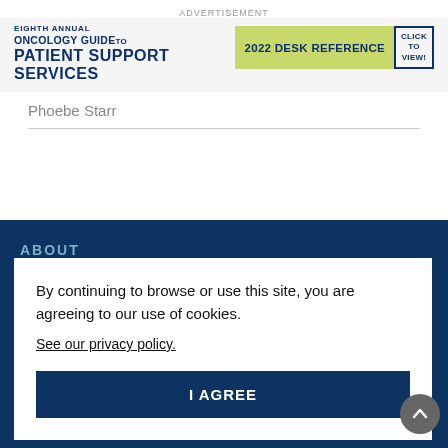ADVERTISEMENT
[Figure (illustration): Eighth Annual Oncology Guide to Patient Support Services — 2022 Desk Reference banner advertisement with CLICK TO VIEW button]
Phoebe Starr
ABOUT
By continuing to browse or use this site, you are agreeing to our use of cookies.
See our privacy policy.
I AGREE
Submit a Manuscript